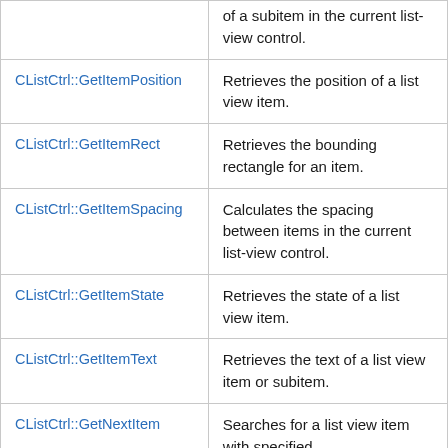| [partial top row] | of a subitem in the current list-view control. |
| CListCtrl::GetItemPosition | Retrieves the position of a list view item. |
| CListCtrl::GetItemRect | Retrieves the bounding rectangle for an item. |
| CListCtrl::GetItemSpacing | Calculates the spacing between items in the current list-view control. |
| CListCtrl::GetItemState | Retrieves the state of a list view item. |
| CListCtrl::GetItemText | Retrieves the text of a list view item or subitem. |
| CListCtrl::GetNextItem | Searches for a list view item with specified |